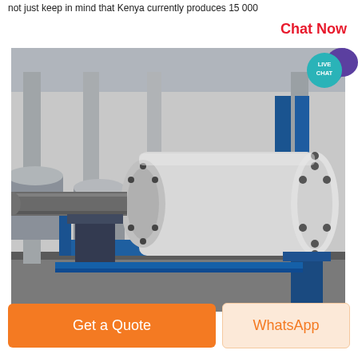not just keep in mind that Kenya currently produces 15 000
Chat Now
[Figure (photo): Industrial factory floor showing a large white cylindrical mechanical component (likely a mill or gearbox shaft assembly) mounted on a blue steel frame. A steel shaft extends from the left side. The background shows a large workshop with columns and other large cylindrical grey components.]
[Figure (other): Live Chat bubble icon — teal circle with LIVE CHAT text and purple speech bubble icon]
Get a Quote
WhatsApp